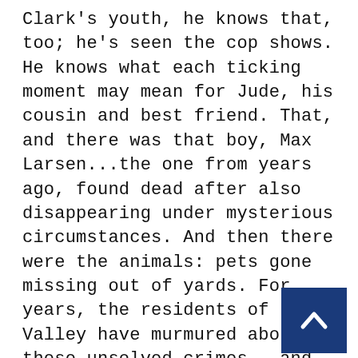Clark's youth, he knows that, too; he's seen the cop shows. He knows what each ticking moment may mean for Jude, his cousin and best friend. That, and there was that boy, Max Larsen...the one from years ago, found dead after also disappearing under mysterious circumstances. And then there were the animals: pets gone missing out of yards. For years, the residents of Deer Valley have murmured about these unsolved crimes...and that a killer may still be lurking around their quiet town. Now, fear is reborn—and for Stevie, who is determined to find out what really happened to Jude, the awful truth may be too horrifying to imagine.